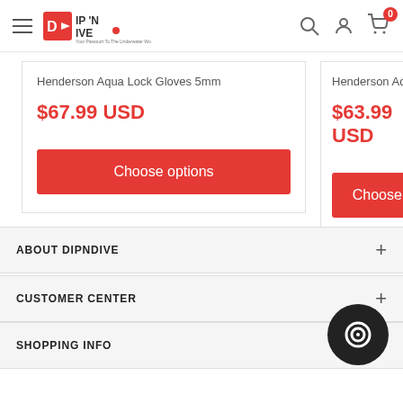DIP 'N DIVE — Your Passport To The Underwater World!
Henderson Aqua Lock Gloves 5mm
$67.99 USD
Choose options
Henderson Aqua L...
$63.99 USD
Choose o...
ABOUT DIPNDIVE
CUSTOMER CENTER
SHOPPING INFO